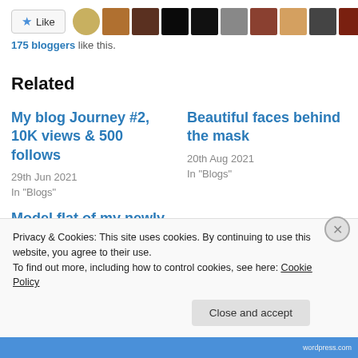[Figure (other): Like button with star icon and a row of 10 blogger avatar thumbnails]
175 bloggers like this.
Related
My blog Journey #2, 10K views & 500 follows
29th Jun 2021
In "Blogs"
Beautiful faces behind the mask
20th Aug 2021
In "Blogs"
Model flat of my newly
Privacy & Cookies: This site uses cookies. By continuing to use this website, you agree to their use.
To find out more, including how to control cookies, see here: Cookie Policy
Close and accept